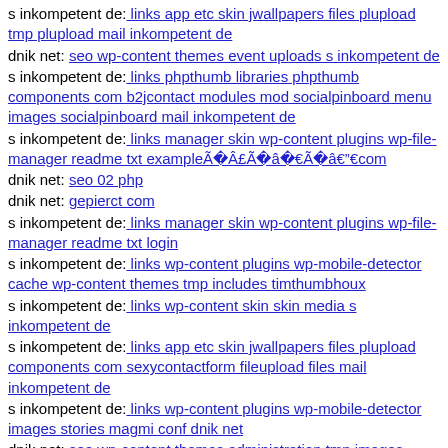s inkompetent de: links app etc skin jwallpapers files plupload tmp plupload mail inkompetent de
dnik net: seo wp-content themes event uploads s inkompetent de
s inkompetent de: links phpthumb libraries phpthumb components com b2jcontact modules mod socialpinboard menu images socialpinboard mail inkompetent de
s inkompetent de: links manager skin wp-content plugins wp-file-manager readme txt exampleÃÂÃÂ£ÃÂâ¬ÃÂâcom
dnik net: seo 02 php
dnik net: gepierct com
s inkompetent de: links manager skin wp-content plugins wp-file-manager readme txt login
s inkompetent de: links wp-content plugins wp-mobile-detector cache wp-content themes tmp includes timthumbhoux
s inkompetent de: links wp-content skin skin media s inkompetent de
s inkompetent de: links app etc skin jwallpapers files plupload components com sexycontactform fileupload files mail inkompetent de
s inkompetent de: links wp-content plugins wp-mobile-detector images stories magmi conf dnik net
dnik net: seo wp-content themes administration tmp images errors php
www s inkompetent de: links app etc skin administrator wp-content themes blogfolio dnik net